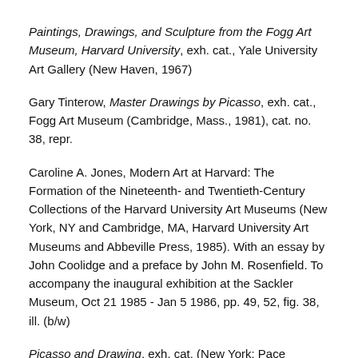Paintings, Drawings, and Sculpture from the Fogg Art Museum, Harvard University, exh. cat., Yale University Art Gallery (New Haven, 1967)
Gary Tinterow, Master Drawings by Picasso, exh. cat., Fogg Art Museum (Cambridge, Mass., 1981), cat. no. 38, repr.
Caroline A. Jones, Modern Art at Harvard: The Formation of the Nineteenth- and Twentieth-Century Collections of the Harvard University Art Museums (New York, NY and Cambridge, MA, Harvard University Art Museums and Abbeville Press, 1985). With an essay by John Coolidge and a preface by John M. Rosenfield. To accompany the inaugural exhibition at the Sackler Museum, Oct 21 1985 - Jan 5 1986, pp. 49, 52, fig. 38, ill. (b/w)
Picasso and Drawing, exh. cat. (New York: Pace